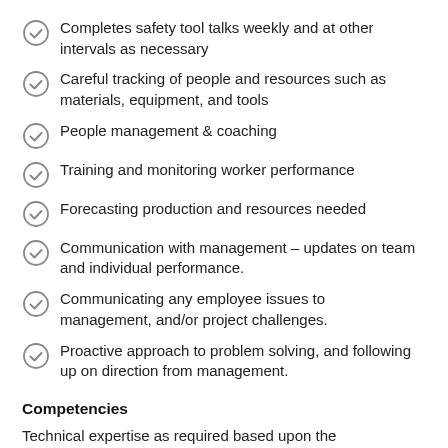Completes safety tool talks weekly and at other intervals as necessary
Careful tracking of people and resources such as materials, equipment, and tools
People management & coaching
Training and monitoring worker performance
Forecasting production and resources needed
Communication with management – updates on team and individual performance.
Communicating any employee issues to management, and/or project challenges.
Proactive approach to problem solving, and following up on direction from management.
Competencies
Technical expertise as required based upon the